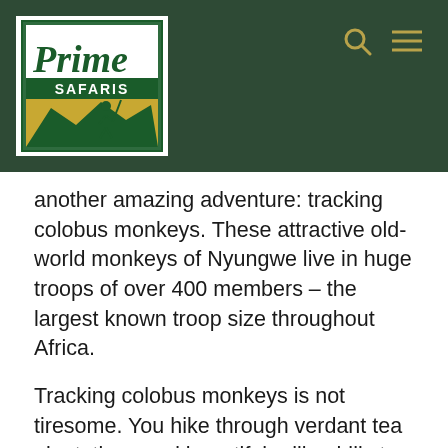[Figure (logo): Prime Safaris logo: green bordered white box with 'Prime' in large green serif font, 'SAFARIS' in white text on green background, silhouette of person with mountains and yellow/gold background]
another amazing adventure: tracking colobus monkeys. These attractive old-world monkeys of Nyungwe live in huge troops of over 400 members – the largest known troop size throughout Africa.
Tracking colobus monkeys is not tiresome. You hike through verdant tea plantations and beautiful rolling hills to reach an isolated forest patch where you can see these attractive primates jumping through the trees. After an hour with them, you